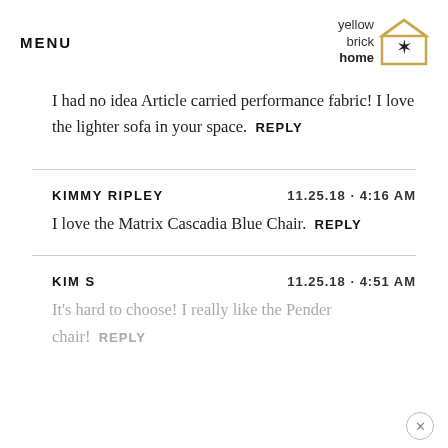MENU | yellow brick home logo
I had no idea Article carried performance fabric! I love the lighter sofa in your space.  REPLY
KIMMY RIPLEY  11.25.18 · 4:16 AM
I love the Matrix Cascadia Blue Chair.  REPLY
KIM S  11.25.18 · 4:51 AM
It's hard to choose! I really like the Pender chair!  REPLY